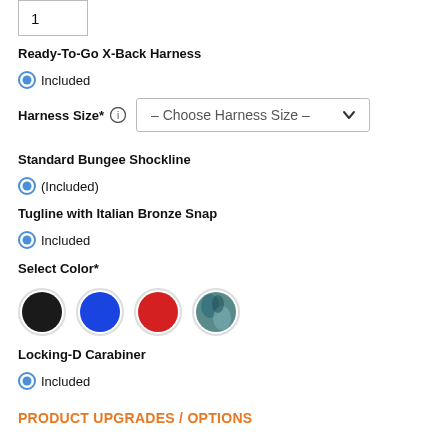1
Ready-To-Go X-Back Harness
Included
Harness Size* — Choose Harness Size —
Standard Bungee Shockline
(Included)
Tugline with Italian Bronze Snap
Included
Select Color*
[Figure (illustration): Four color swatches: black, blue, red, and a dark teal/pattern]
Locking-D Carabiner
Included
PRODUCT UPGRADES / OPTIONS